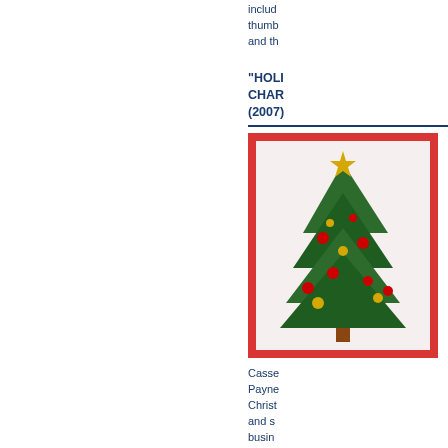includ thumb and th
"HOLI CHAR (2007)
[Figure (photo): A decorated Christmas tree with red and green ornaments and decorations on a red background]
Casse Payne Chris and s busin Click open each t enlarg creati inform
KARL